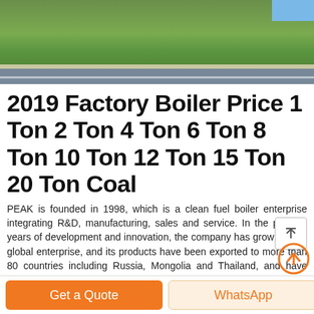[Figure (photo): Aerial view of a factory/industrial facility with green landscape, road, and fence visible from above]
2019 Factory Boiler Price 1 Ton 2 Ton 4 Ton 6 Ton 8 Ton 10 Ton 12 Ton 15 Ton 20 Ton Coal
PEAK is founded in 1998, which is a clean fuel boiler enterprise integrating R&D, manufacturing, sales and service. In the past 20 years of development and innovation, the company has grown into a global enterprise, and its products have been exported to more than 80 countries including Russia, Mongolia and Thailand, and have established long-lasting cooperative relations with local enterprises.